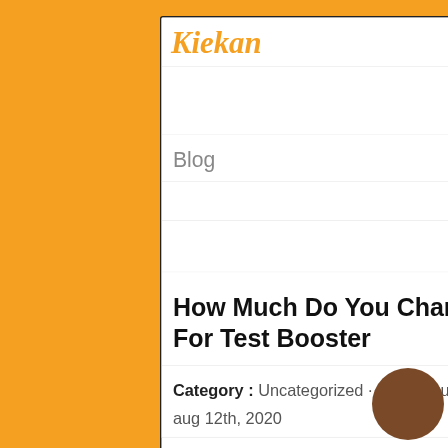Kiekan
Blog
How Much Do You Charge For Test Booster
Category : Uncategorized · by Bestuur Kiekan
aug 12th, 2020